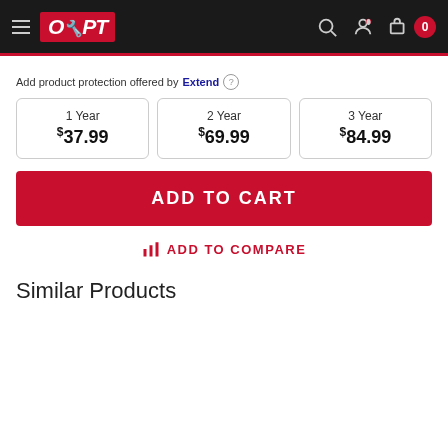OPT store header with logo, search, account, and cart (0 items)
Add product protection offered by Extend ℹ
| 1 Year | 2 Year | 3 Year |
| --- | --- | --- |
| $37.99 | $69.99 | $84.99 |
ADD TO CART
ADD TO COMPARE
Similar Products